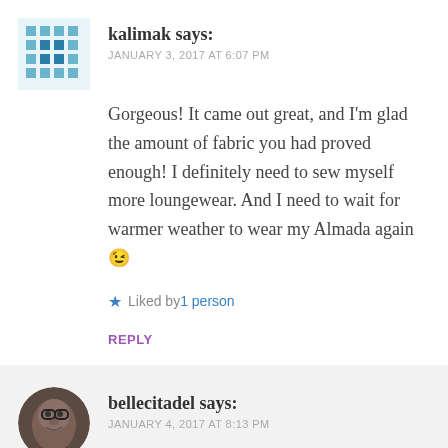[Figure (photo): Avatar for kalimak — teal/blue pixel art grid pattern icon]
kalimak says:
JANUARY 3, 2017 AT 6:07 PM
Gorgeous! It came out great, and I'm glad the amount of fabric you had proved enough! I definitely need to sew myself more loungewear. And I need to wait for warmer weather to wear my Almada again 😉
★ Liked by 1 person
REPLY
[Figure (photo): Avatar for bellecitadel — photo of a woman with glasses]
bellecitadel says:
JANUARY 4, 2017 AT 8:13 PM
Haha – well… I'm Scottish. So I wear this in winter. In fact, I need to